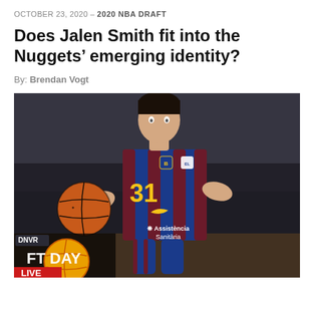OCTOBER 23, 2020 – 2020 NBA DRAFT
Does Jalen Smith fit into the Nuggets' emerging identity?
By: Brendan Vogt
[Figure (photo): Basketball player wearing FC Barcelona jersey number 31 with Assistencia Sanitaria sponsor, dribbling a basketball. DNVR Draft Day Live overlay logo in the bottom-left corner.]